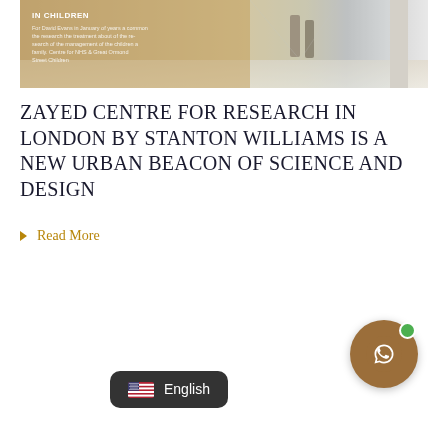[Figure (photo): Interior corridor of the Zayed Centre for Research in London, showing a decorative perforated golden wall panel with text about research in children, with two people walking in the background through a glass-walled hallway]
ZAYED CENTRE FOR RESEARCH IN LONDON BY STANTON WILLIAMS IS A NEW URBAN BEACON OF SCIENCE AND DESIGN
Read More
[Figure (screenshot): Chat bubble UI element showing three grey dots (typing indicator)]
[Figure (other): WhatsApp contact button — brown circular button with WhatsApp icon and green online indicator dot]
[Figure (other): Language selector UI showing US flag and 'English' text on dark rounded rectangle background]